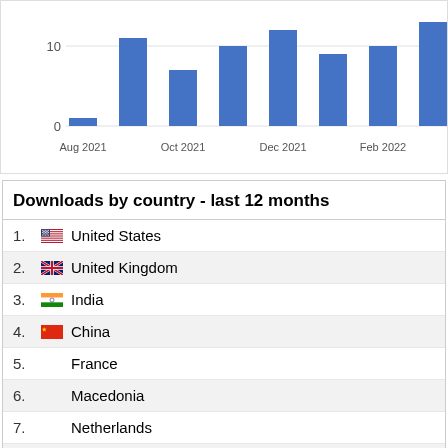[Figure (bar-chart): Downloads over time]
Downloads by country - last 12 months
1. United States
2. United Kingdom
3. India
4. China
5. France
6. Macedonia
7. Netherlands
8. Japan
9. Korea, Republic of
10. Finland